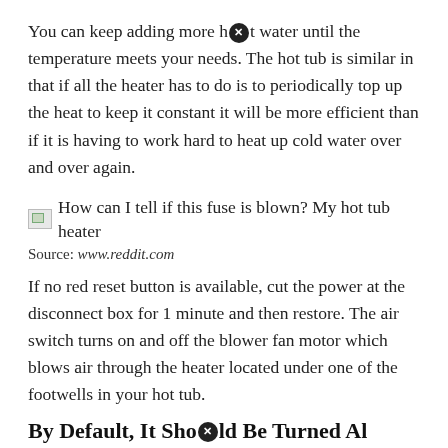You can keep adding more hot water until the temperature meets your needs. The hot tub is similar in that if all the heater has to do is to periodically top up the heat to keep it constant it will be more efficient than if it is having to work hard to heat up cold water over and over again.
[Figure (other): Broken image placeholder with caption: How can I tell if this fuse is blown? My hot tub heater]
Source: www.reddit.com
If no red reset button is available, cut the power at the disconnect box for 1 minute and then restore. The air switch turns on and off the blower fan motor which blows air through the heater located under one of the footwells in your hot tub.
By Default, It Should Be Turned Al